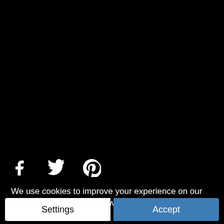[Figure (illustration): Social media share icons: Facebook (f), Twitter (bird), Pinterest (P) displayed as white icons on black background]
We use cookies to improve your experience on our website. By browsing this website, you agree to our use of cookies.
Settings
Accept